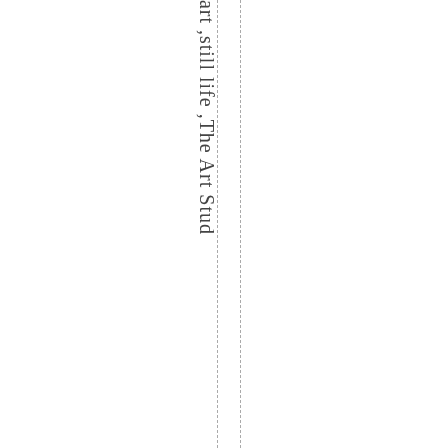eart ,still life ,The Art Stud